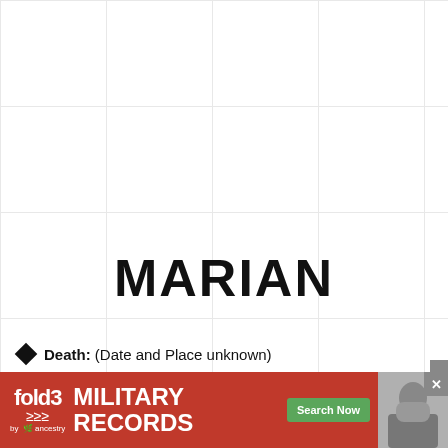MARIAN
Death: (Date and Place unknown)
Partnership with: Thomas SHEAFFE
Child: Thomas SCHEAFFE Birth: ABT. 1470,
[Figure (screenshot): Fold3 by Ancestry advertisement banner for Military Records with Search Now button]